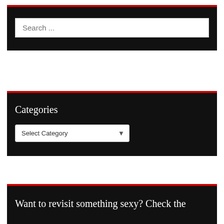[Figure (screenshot): Search widget with black background and red top border, containing a white search input box with placeholder text 'Search ...']
Categories
[Figure (screenshot): Categories widget with black background and red top border, containing a 'Select Category' dropdown selector]
Want to revisit something sexy? Check the Archives...